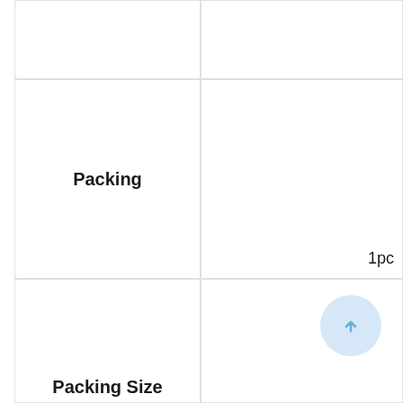|  |  |
| Packing | 1pc |
| Packing Size |  |
[Figure (other): Circular scroll-to-top button with upward arrow icon, light blue color]